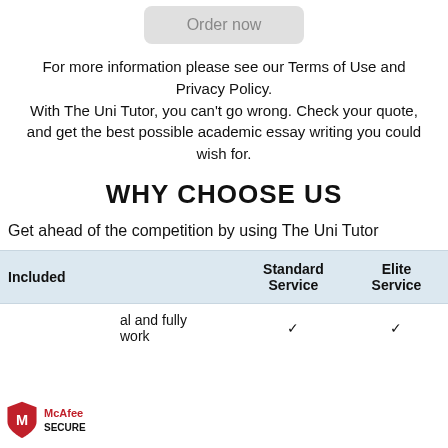[Figure (other): Order now button (greyed out, rounded rectangle)]
For more information please see our Terms of Use and Privacy Policy. With The Uni Tutor, you can't go wrong. Check your quote, and get the best possible academic essay writing you could wish for.
WHY CHOOSE US
Get ahead of the competition by using The Uni Tutor
| Included | Standard Service | Elite Service |
| --- | --- | --- |
| Your original and fully referenced work | ✓ | ✓ |
[Figure (logo): McAfee SECURE logo — red shield with M, text McAfee SECURE]